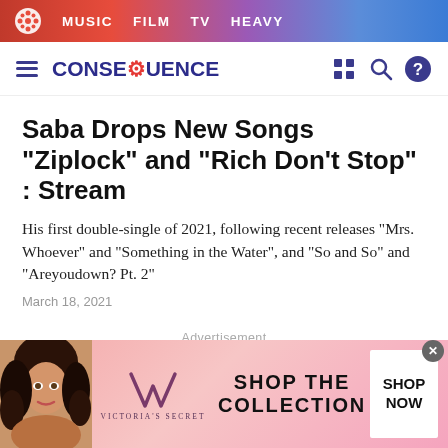MUSIC FILM TV HEAVY
CONSEQUENCE
Saba Drops New Songs "Ziplock" and "Rich Don't Stop" : Stream
His first double-single of 2021, following recent releases “Mrs. Whoever” and “Something in the Water”, and “So and So” and “Areyoudown? Pt. 2”
March 18, 2021
Advertisement
[Figure (photo): Victoria's Secret advertisement banner showing a model, VS logo, SHOP THE COLLECTION text, and SHOP NOW button]